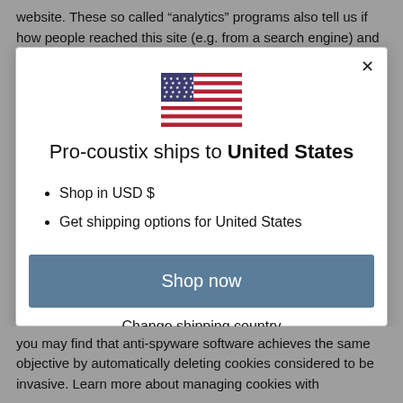website. These so called “analytics” programs also tell us if how people reached this site (e.g. from a search engine) and
[Figure (screenshot): Modal dialog with US flag, 'Pro-coustix ships to United States' heading, bullet points for USD shopping and US shipping options, a 'Shop now' button, and a 'Change shipping country' link. Includes a close (X) button in the top right corner.]
you may find that anti-spyware software achieves the same objective by automatically deleting cookies considered to be invasive. Learn more about managing cookies with